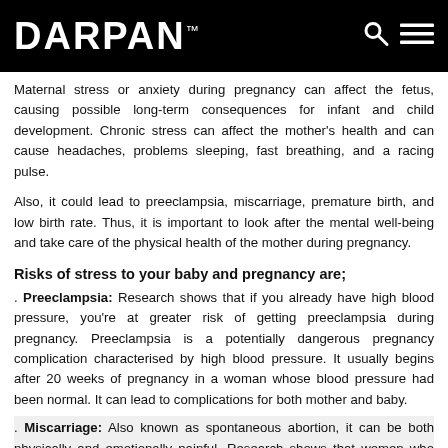DARPAN™
Maternal stress or anxiety during pregnancy can affect the fetus, causing possible long-term consequences for infant and child development. Chronic stress can affect the mother's health and can cause headaches, problems sleeping, fast breathing, and a racing pulse.
Also, it could lead to preeclampsia, miscarriage, premature birth, and low birth rate. Thus, it is important to look after the mental well-being and take care of the physical health of the mother during pregnancy.
Risks of stress to your baby and pregnancy are;
. Preeclampsia: Research shows that if you already have high blood pressure, you're at greater risk of getting preeclampsia during pregnancy. Preeclampsia is a potentially dangerous pregnancy complication characterised by high blood pressure. It usually begins after 20 weeks of pregnancy in a woman whose blood pressure had been normal. It can lead to complications for both mother and baby.
. Miscarriage: Also known as spontaneous abortion, it can be both physically and emotionally painful. Research shows that women who had major negative life events or